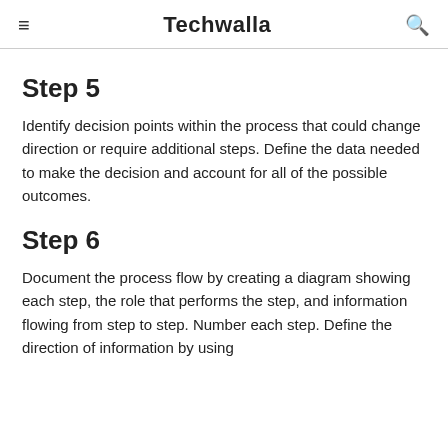≡   Techwalla   🔍
Step 5
Identify decision points within the process that could change direction or require additional steps. Define the data needed to make the decision and account for all of the possible outcomes.
Step 6
Document the process flow by creating a diagram showing each step, the role that performs the step, and information flowing from step to step. Number each step. Define the direction of information by using